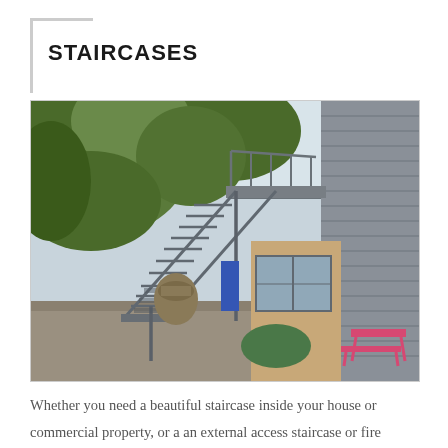STAIRCASES
[Figure (photo): Exterior metal staircase leading up to a second floor deck on a residential/commercial building, surrounded by trees and garden furniture including a pink table and bench.]
Whether you need a beautiful staircase inside your house or commercial property, or a an external access staircase or fire escape, we'll